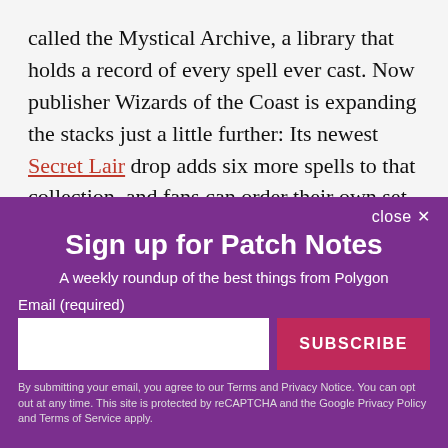called the Mystical Archive, a library that holds a record of every spell ever cast. Now publisher Wizards of the Coast is expanding the stacks just a little further: Its newest Secret Lair drop adds six more spells to that collection, and fans can order their own set starting April 26.
close ✕
Sign up for Patch Notes
A weekly roundup of the best things from Polygon
Email (required)
SUBSCRIBE
By submitting your email, you agree to our Terms and Privacy Notice. You can opt out at any time. This site is protected by reCAPTCHA and the Google Privacy Policy and Terms of Service apply.